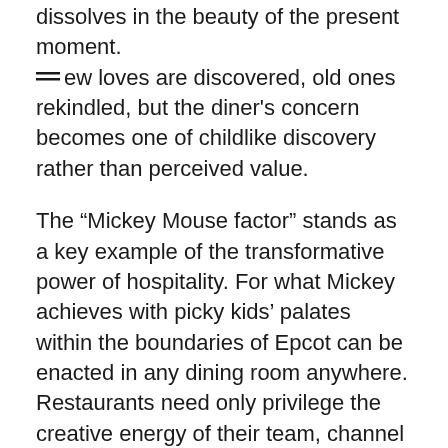dissolves in the beauty of the present moment. New loves are discovered, old ones rekindled, but the diner's concern becomes one of childlike discovery rather than perceived value.
The “Mickey Mouse factor” stands as a key example of the transformative power of hospitality. For what Mickey achieves with picky kids’ palates within the boundaries of Epcot can be enacted in any dining room anywhere. Restaurants need only privilege the creative energy of their team, channel it ceaselessly towards the customer experience, and allow food to stretch its wings as something more than mere fuel.
The goal never could nor should be to avoid any incidence of distaste. Accounting for that, ultimately, would mean denying every diner an appreciation of the chef’s full palette of tastes and